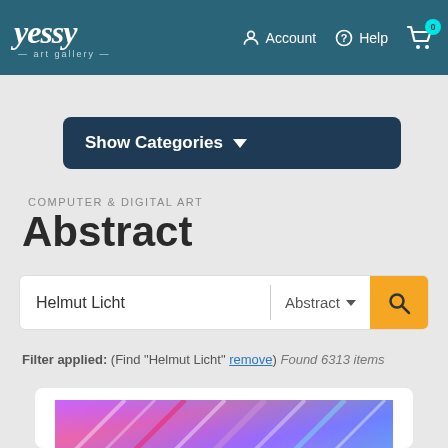yessy art gallery — Account | Help | Cart (0)
Show Categories ▼
COMPUTER & DIGITAL ART
Abstract
Helmut Licht | Abstract ▼ [search]
Filter applied: (Find "Helmut Licht" remove) Found 6313 items
[Figure (photo): Abstract digital artwork showing colorful diagonal striped patterns in pink, purple, blue and teal colors]